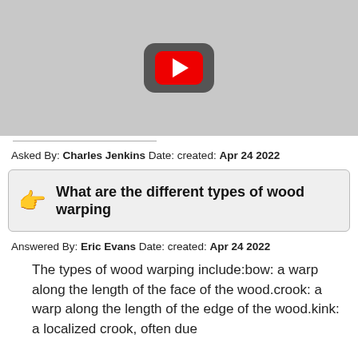[Figure (screenshot): YouTube video thumbnail placeholder showing a dark rounded rectangle with a red YouTube play button in the center, on a light gray background]
Asked By: Charles Jenkins Date: created: Apr 24 2022
What are the different types of wood warping
Answered By: Eric Evans Date: created: Apr 24 2022
The types of wood warping include:bow: a warp along the length of the face of the wood.crook: a warp along the length of the edge of the wood.kink: a localized crook, often due